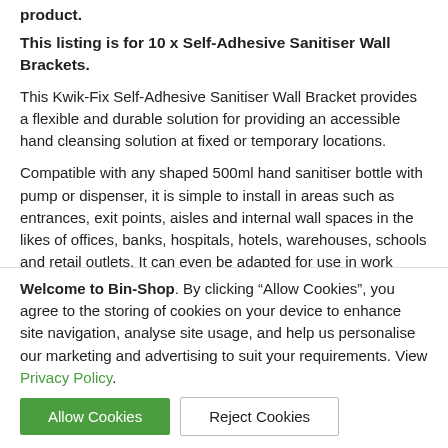product.
This listing is for 10 x Self-Adhesive Sanitiser Wall Brackets.
This Kwik-Fix Self-Adhesive Sanitiser Wall Bracket provides a flexible and durable solution for providing an accessible hand cleansing solution at fixed or temporary locations.
Compatible with any shaped 500ml hand sanitiser bottle with pump or dispenser, it is simple to install in areas such as entrances, exit points, aisles and internal wall spaces in the likes of offices, banks, hospitals, hotels, warehouses, schools and retail outlets. It can even be adapted for use in work vans or on public transport, as well as part of a free-standing sanitisation unit to help reduce the spread of infectious diseases.
Welcome to Bin-Shop. By clicking “Allow Cookies”, you agree to the storing of cookies on your device to enhance site navigation, analyse site usage, and help us personalise our marketing and advertising to suit your requirements. View Privacy Policy.